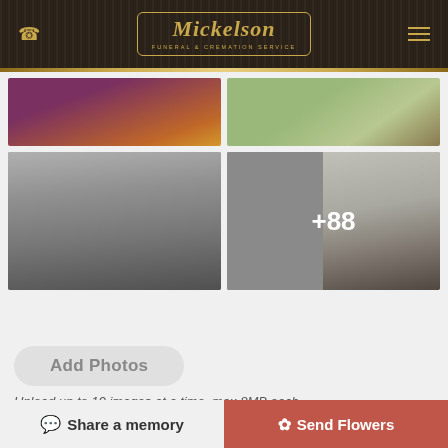[Figure (logo): Mickelson Funeral & Cremation Service logo with gold script text on dark wood background header]
[Figure (photo): Two photo thumbnails in top row: left shows clasped hands in purple/orange tones, right shows jewelry on green fabric]
[Figure (photo): Two photo thumbnails in bottom row: left shows black and white wedding photo of couple, right shows elderly woman with +88 overlay indicating 88 more photos]
Add Photos
Upload up to 10 images at a time, max 8MB each
Share a memory
Send Flowers